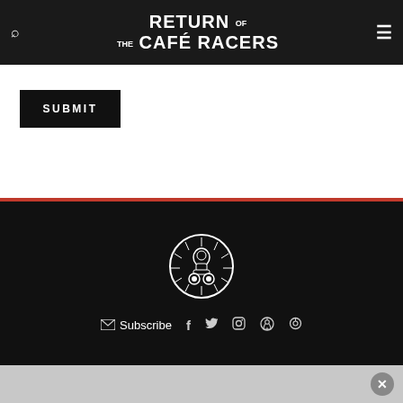Return of the Café Racers
SUBMIT
[Figure (logo): Return of the Café Racers circular logo — black and white motorcycle illustration with radiating lines]
Subscribe  f  Twitter  Instagram  Pinterest  Search